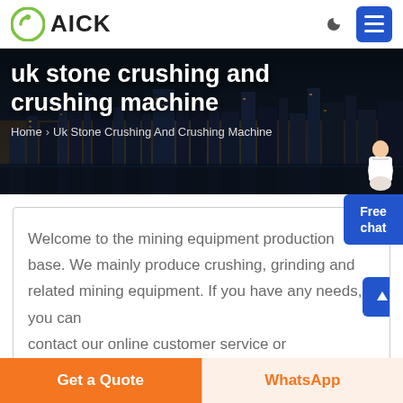AICK
[Figure (screenshot): Hero banner with city skyline background showing 'uk stone crushing and crushing machine' title and breadcrumb navigation. A customer service representative figure is visible in the bottom right of the banner.]
uk stone crushing and crushing machine
Home > Uk Stone Crushing And Crushing Machine
Free chat
Welcome to the mining equipment production base. We mainly produce crushing, grinding and related mining equipment. If you have any needs, you can contact our online customer service or
Get a Quote
WhatsApp